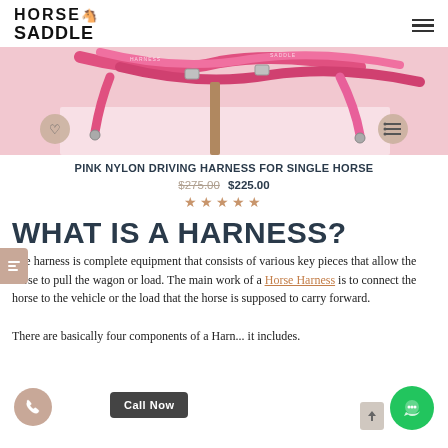HORSE SADDLE
[Figure (photo): Pink nylon driving harness product photograph showing pink straps and hardware on a light background, with wishlist heart button on lower left and list button on lower right]
PINK NYLON DRIVING HARNESS FOR SINGLE HORSE
$275.00  $225.00
★★★★★
WHAT IS A HARNESS?
The harness is complete equipment that consists of various key pieces that allow the horse to pull the wagon or load. The main work of a Horse Harness is to connect the horse to the vehicle or the load that the horse is supposed to carry forward. There are basically four components of a Harness it includes.